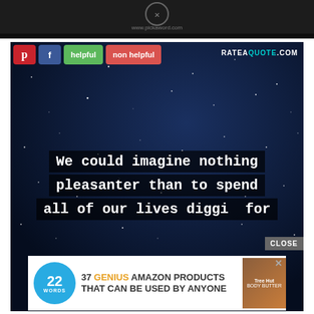[Figure (screenshot): Dark banner at top with a circular logo and URL text on a dark textured background]
[Figure (screenshot): A quote image card from RATEAQUOTE.COM with a starry night sky background. White text in monospace font reads: 'We could imagine nothing pleasanter than to spend all of our lives digging for'. Social sharing buttons (Pinterest, Facebook, helpful, non helpful) at the top. An advertisement overlay from '22 Words' showing '37 GENIUS AMAZON PRODUCTS THAT CAN BE USED BY ANYONE'. Author name 'Heinrich Schliemann' at bottom. A CLOSE button overlays the text.]